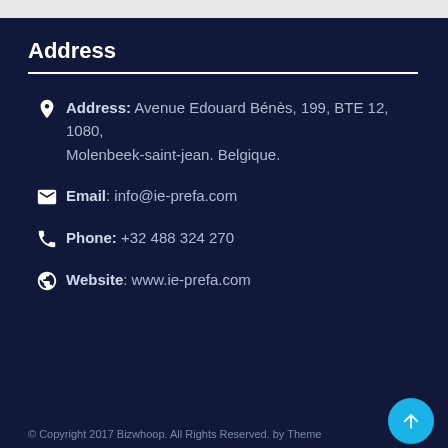Address
Address: Avenue Edouard Bénès, 199, BTE 12, 1080, Molenbeek-saint-jean. Belgique.
Email: info@ie-prefa.com
Phone: +32 488 324 270
Website: www.ie-prefa.com
© Copyright 2017 Bizwhoop. All Rights Reserved. by Theme